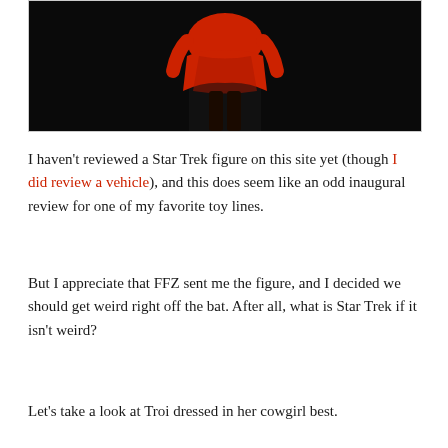[Figure (photo): A Star Trek action figure dressed in red cowgirl/western outfit against a black background, photographed from below showing the torso and outfit.]
I haven't reviewed a Star Trek figure on this site yet (though I did review a vehicle), and this does seem like an odd inaugural review for one of my favorite toy lines.
But I appreciate that FFZ sent me the figure, and I decided we should get weird right off the bat. After all, what is Star Trek if it isn't weird?
Let's take a look at Troi dressed in her cowgirl best.